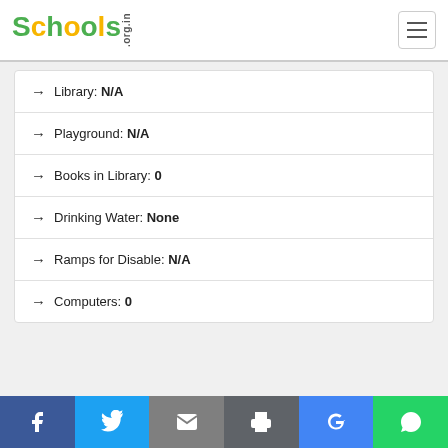Schools.org.in
Library: N/A
Playground: N/A
Books in Library: 0
Drinking Water: None
Ramps for Disable: N/A
Computers: 0
Facebook Twitter Email Print Google WhatsApp